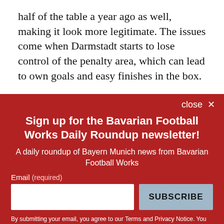half of the table a year ago as well, making it look more legitimate. The issues come when Darmstadt starts to lose control of the penalty area, which can lead to own goals and easy finishes in the box.
They will surely be a tough team to break down, but
close ✕
Sign up for the Bavarian Football Works Daily Roundup newsletter!
A daily roundup of Bayern Munich news from Bavarian Football Works
Email (required)
SUBSCRIBE
By submitting your email, you agree to our Terms and Privacy Notice. You can opt out at any time. This site is protected by reCAPTCHA and the Google Privacy Policy and Terms of Service apply.